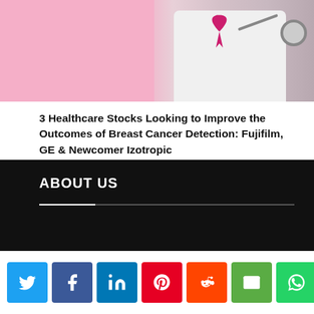[Figure (photo): Doctor in white coat wearing pink ribbon and stethoscope, with pink background on left side]
3 Healthcare Stocks Looking to Improve the Outcomes of Breast Cancer Detection: Fujifilm, GE & Newcomer Izotropic
ABOUT US
[Figure (infographic): Social sharing bar with Twitter, Facebook, LinkedIn, Pinterest, Reddit, Email, WhatsApp buttons and 104 SHARES count]